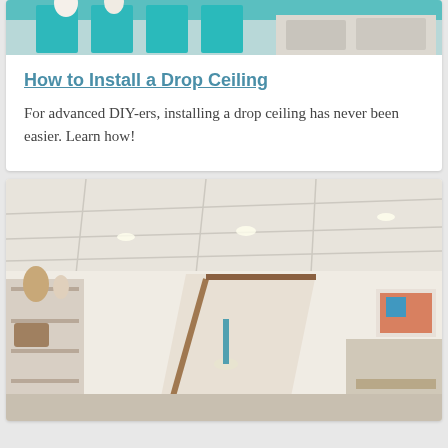[Figure (photo): Top portion of a photo showing turquoise/teal bar stools and white furniture items, partial view of a room with drop ceiling]
How to Install a Drop Ceiling
For advanced DIY-ers, installing a drop ceiling has never been easier. Learn how!
[Figure (photo): Interior photo of a finished basement with a drop ceiling installed, featuring recessed lighting, white walls, open staircase with wood railing, shelving unit with decorative items including baskets and pottery, and a work/dining area]